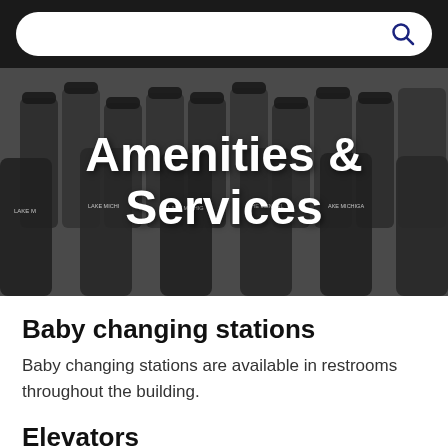[Figure (photo): Background photo of Lake Michigan College branded travel mugs/tumblers arranged in rows. Overlaid white bold text reads 'Amenities & Services'.]
Baby changing stations
Baby changing stations are available in restrooms throughout the building.
Elevators
The Mendel Center has three floors plus the